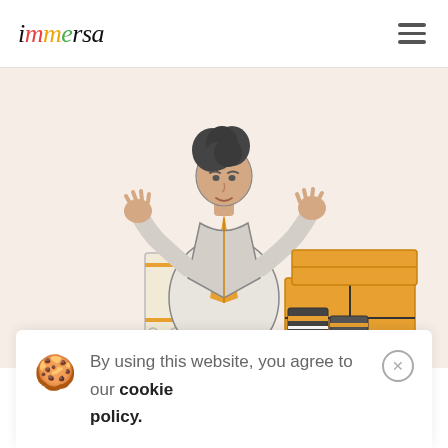immersa
[Figure (illustration): Cartoon illustration of a person with dark curly hair wearing an orange vest and white jacket, shrugging with both hands raised, surrounded by office binders and an orange package/box, on a beige background.]
By using this website, you agree to our cookie policy.